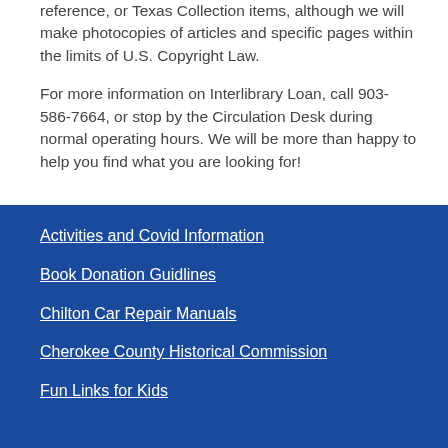reference, or Texas Collection items, although we will make photocopies of articles and specific pages within the limits of U.S. Copyright Law.
For more information on Interlibrary Loan, call 903-586-7664, or stop by the Circulation Desk during normal operating hours. We will be more than happy to help you find what you are looking for!
Activities and Covid Information
Book Donation Guidlines
Chilton Car Repair Manuals
Cherokee County Historical Commission
Fun Links for Kids